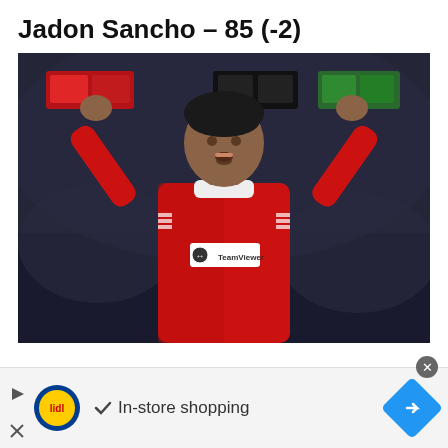Jadon Sancho – 85 (-2)
[Figure (photo): Jadon Sancho in a red Manchester United kit with both fists raised in celebration, stadium crowd in background]
In-store shopping
[Figure (logo): Lidl logo and advertisement banner with In-store shopping text and navigation arrow]